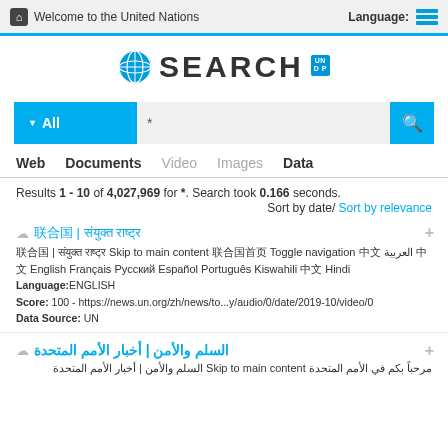Welcome to the United Nations   Language:
[Figure (screenshot): UN Search logo with globe icon and UNDP badge]
* (search query in All category)
Web  Documents  Video  Images  Data
Results 1 - 10 of 4,027,969 for *. Search took 0.166 seconds.
Sort by date/ Sort by relevance
联合国 | संयुक्त राष्ट्र
联合国 | संयुक्त राष्ट्र Skip to main content 联合国首页 Toggle navigation 中文 العربية 中文 English Français Русский Español Português Kiswahili 中文 Hindi
Language:ENGLISH
Score: 100 - https://news.un.org/zh/news/to...y/audio/0/date/2019-10/video/0
Data Source: UN
السلم والأمن | أخبار الأمم المتحدة
مرحباً بكم في الأمم المتحدة Skip to main content السلم والأمن | أخبار الأمم المتحدة